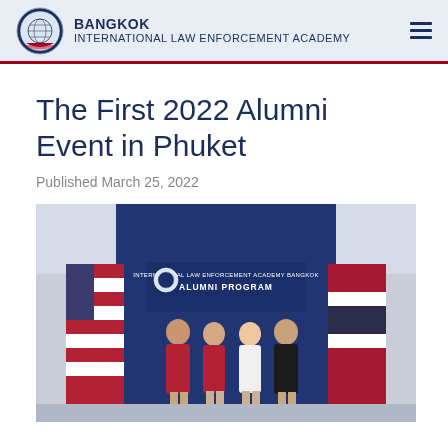BANGKOK INTERNATIONAL LAW ENFORCEMENT ACADEMY
The First 2022 Alumni Event in Phuket
Published March 25, 2022
[Figure (photo): Four people standing in front of a banner reading 'International Law Enforcement Academy Bangkok Alumni Program', flanked by American and Thai flags]